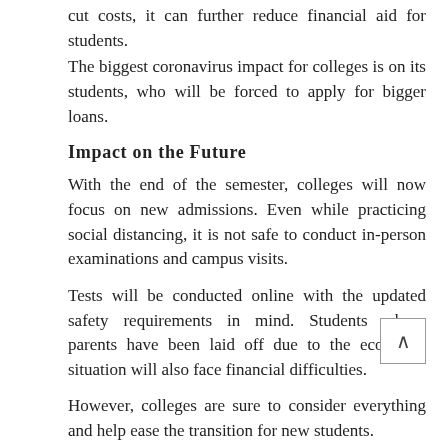cut costs, it can further reduce financial aid for students.
The biggest coronavirus impact for colleges is on its students, who will be forced to apply for bigger loans.
Impact on the Future
With the end of the semester, colleges will now focus on new admissions. Even while practicing social distancing, it is not safe to conduct in-person examinations and campus visits.
Tests will be conducted online with the updated safety requirements in mind. Students whose parents have been laid off due to the economic situation will also face financial difficulties.
However, colleges are sure to consider everything and help ease the transition for new students.
With such a large impact of coronavirus on universities, it must be accepted that the world will not be the same for the next few months. If you're